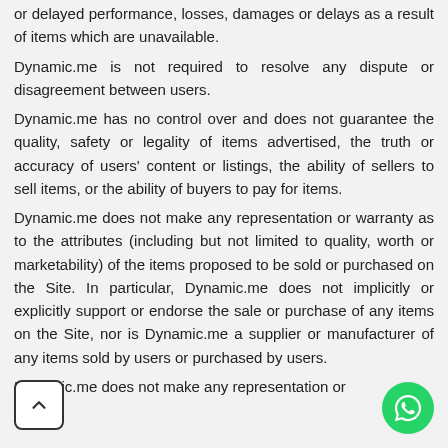or delayed performance, losses, damages or delays as a result of items which are unavailable.
Dynamic.me is not required to resolve any dispute or disagreement between users.
Dynamic.me has no control over and does not guarantee the quality, safety or legality of items advertised, the truth or accuracy of users' content or listings, the ability of sellers to sell items, or the ability of buyers to pay for items.
Dynamic.me does not make any representation or warranty as to the attributes (including but not limited to quality, worth or marketability) of the items proposed to be sold or purchased on the Site. In particular, Dynamic.me does not implicitly or explicitly support or endorse the sale or purchase of any items on the Site, nor is Dynamic.me a supplier or manufacturer of any items sold by users or purchased by users.
Dynamic.me does not make any representation or